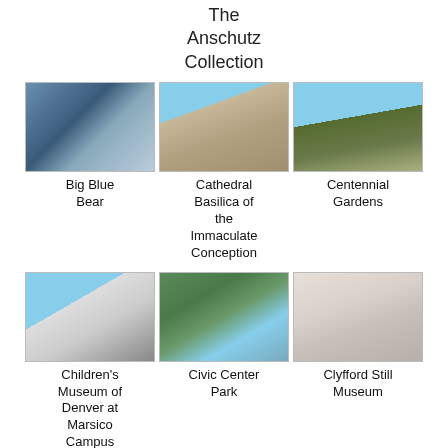The Anschutz Collection
[Figure (photo): Big Blue Bear sculpture at a building]
Big Blue Bear
[Figure (photo): Cathedral Basilica of the Immaculate Conception]
Cathedral Basilica of the Immaculate Conception
[Figure (photo): Centennial Gardens with tower in background]
Centennial Gardens
[Figure (photo): Children's Museum of Denver at Marsico Campus exterior]
Children's Museum of Denver at Marsico Campus
[Figure (photo): Civic Center Park with green lawn and benches]
Civic Center Park
[Figure (photo): Clyfford Still Museum interior with visitors]
Clyfford Still Museum